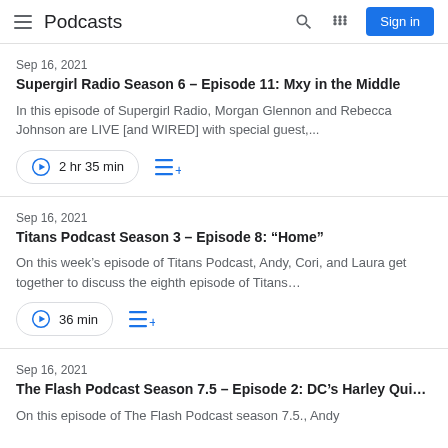Podcasts — Sign in
Sep 16, 2021 | Supergirl Radio Season 6 – Episode 11: Mxy in the Middle | In this episode of Supergirl Radio, Morgan Glennon and Rebecca Johnson are LIVE [and WIRED] with special guest,... | 2 hr 35 min
Sep 16, 2021 | Titans Podcast Season 3 – Episode 8: "Home" | On this week's episode of Titans Podcast, Andy, Cori, and Laura get together to discuss the eighth episode of Titans... | 36 min
Sep 16, 2021 | The Flash Podcast Season 7.5 – Episode 2: DC's Harley Qui... | On this episode of The Flash Podcast season 7.5., Andy